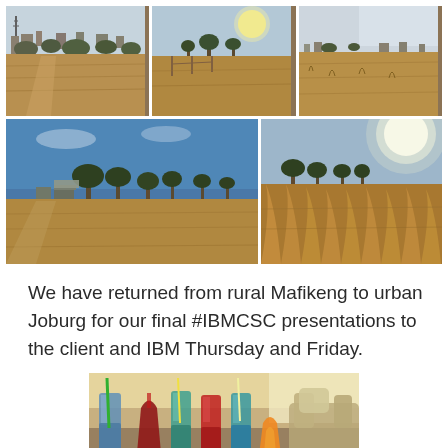[Figure (photo): Three landscape photos of dry grassland/savanna in Mafikeng, South Africa, arranged in a top row of three]
[Figure (photo): Two landscape photos of dry grassland/savanna in Mafikeng, South Africa, arranged in a bottom row of two]
We have returned from rural Mafikeng to urban Joburg for our final #IBMCSC presentations to the client and IBM Thursday and Friday.
[Figure (photo): Photo of drinks and beverages on a table in a lounge setting]